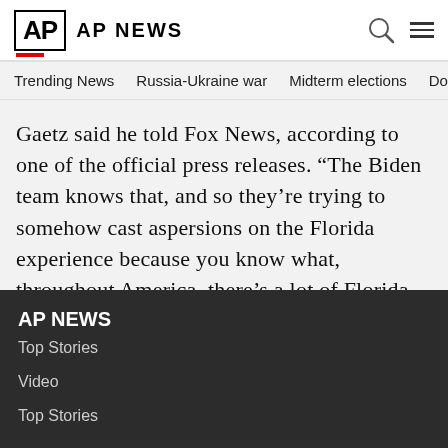AP AP NEWS
Trending News   Russia-Ukraine war   Midterm elections   Dona
Gaetz said he told Fox News, according to one of the official press releases. “The Biden team knows that, and so they’re trying to somehow cast aspersions on the Florida experience because you know what, throughout America, there’s a lot of Florida envy right now.”
AP NEWS
Top Stories
Video
Top Stories